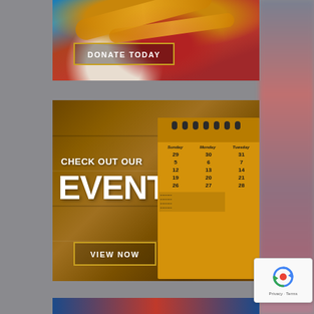[Figure (photo): Donate Today banner - person holding a red heart, with orange ribbon, and a 'DONATE TODAY' button with gold border]
[Figure (photo): Check Out Our Events banner - wooden table background with yellow/gold calendar on right side. Text reads 'CHECK OUT OUR EVENTS' with a 'VIEW NOW' button]
[Figure (photo): Bottom strip with gradient colors visible at page bottom]
[Figure (screenshot): reCAPTCHA widget in bottom right showing Google reCAPTCHA logo with Privacy and Terms links]